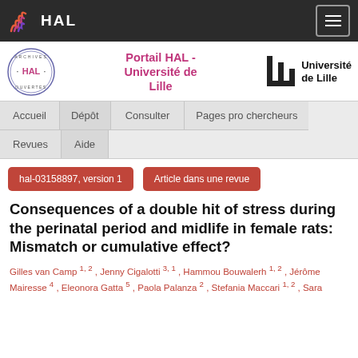HAL
[Figure (logo): Portail HAL - Université de Lille header with Archives Ouvertes HAL circular logo and Université de Lille logo]
Accueil
Dépôt
Consulter
Pages pro chercheurs
Revues
Aide
hal-03158897, version 1
Article dans une revue
Consequences of a double hit of stress during the perinatal period and midlife in female rats: Mismatch or cumulative effect?
Gilles van Camp 1, 2 , Jenny Cigalotti 3, 1 , Hammou Bouwalerh 1, 2 , Jérôme Mairesse 4 , Eleonora Gatta 5 , Paola Palanza 2 , Stefania Maccari 1, 2 , Sara